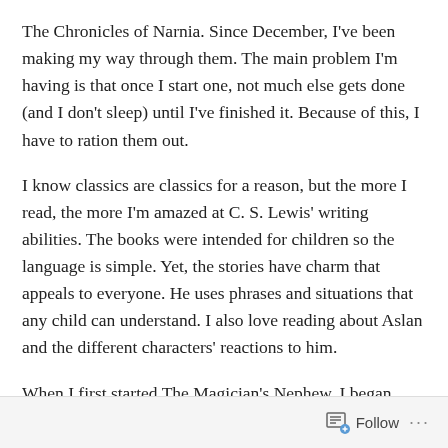The Chronicles of Narnia. Since December, I've been making my way through them. The main problem I'm having is that once I start one, not much else gets done (and I don't sleep) until I've finished it. Because of this, I have to ration them out.
I know classics are classics for a reason, but the more I read, the more I'm amazed at C. S. Lewis' writing abilities. The books were intended for children so the language is simple. Yet, the stories have charm that appeals to everyone. He uses phrases and situations that any child can understand. I also love reading about Aslan and the different characters' reactions to him.
When I first started The Magician's Nephew, I began
Follow ···